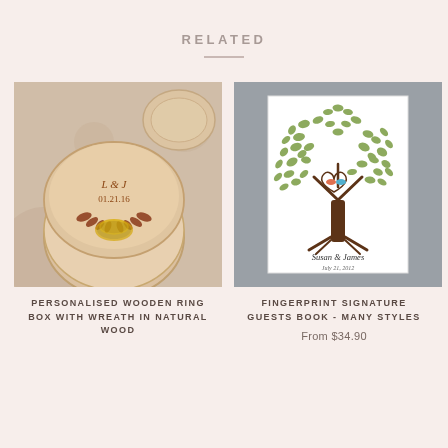RELATED
[Figure (photo): Personalised wooden ring box with engraved initials L & J and date 01.21.16, with a leaf wreath design, in natural wood, containing two gold rings. Shown open and closed on a light background.]
PERSONALISED WOODEN RING BOX WITH WREATH IN NATURAL WOOD
[Figure (photo): Fingerprint signature guest book print showing a tree with green leaf-shaped fingerprints, two birds forming a heart shape, and the names Susan & James with a date below, printed on white card.]
FINGERPRINT SIGNATURE GUESTS BOOK - MANY STYLES
From $34.90